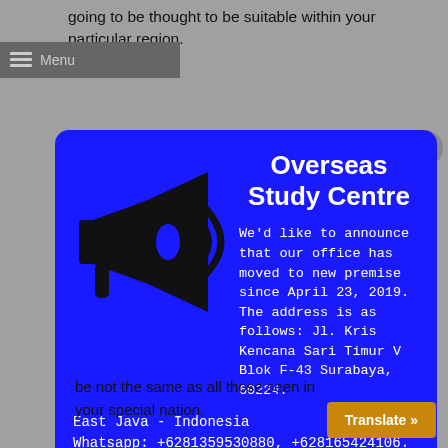going to be thought to be suitable within your particular region.
[Figure (screenshot): A blue modal popup card for Overseas Study Centre showing a megaphone icon, announcement text about office move, address details, and website URL.]
be not the same as all those seen in your special nation.